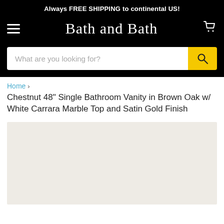Always FREE SHIPPING to continental US!
Bath and Bath
What are you looking for?
Home > Chestnut 48" Single Bathroom Vanity in Brown Oak w/ White Carrara Marble Top and Satin Gold Finish
[Figure (photo): Product image placeholder area with light beige background]